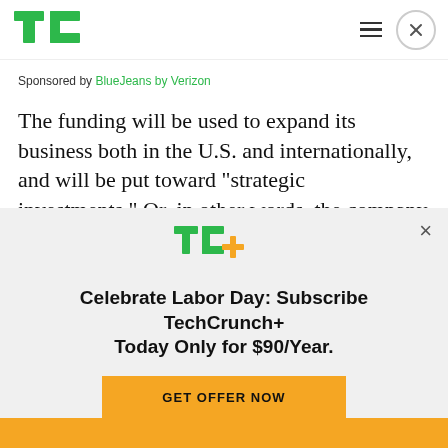TechCrunch
Sponsored by BlueJeans by Verizon
The funding will be used to expand its business both in the U.S. and internationally, and will be put toward “strategic investments.” Or, in other words, the company is working to use the funds to propel it much further than competitors in this still-evolving industry.
Celebrate Labor Day: Subscribe TechCrunch+ Today Only for $90/Year.
GET OFFER NOW